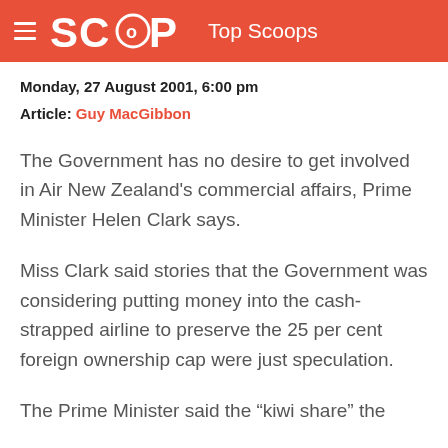SCOOP Top Scoops
Monday, 27 August 2001, 6:00 pm
Article: Guy MacGibbon
The Government has no desire to get involved in Air New Zealand's commercial affairs, Prime Minister Helen Clark says.
Miss Clark said stories that the Government was considering putting money into the cash-strapped airline to preserve the 25 per cent foreign ownership cap were just speculation.
The Prime Minister said the “kiwi share” the